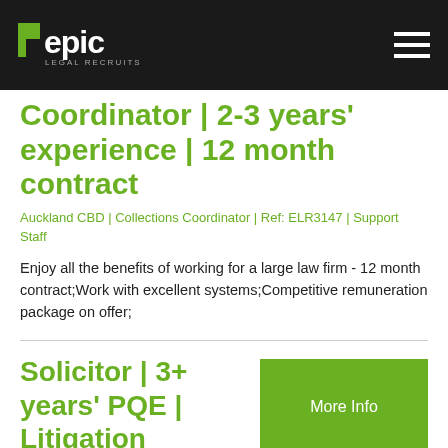epic legal recruits
Coordinator | 2-3 years' experience | 12 month contract
Auckland CBD | Collections Coordinator | Ref: ELR3147 | Support Staff
Enjoy all the benefits of working for a large law firm - 12 month contract;Work with excellent systems;Competitive remuneration package on offer;
Solicitor | 3+ years' PQE | Litigation
Auckland CBD | Solicitor | 3+ years'